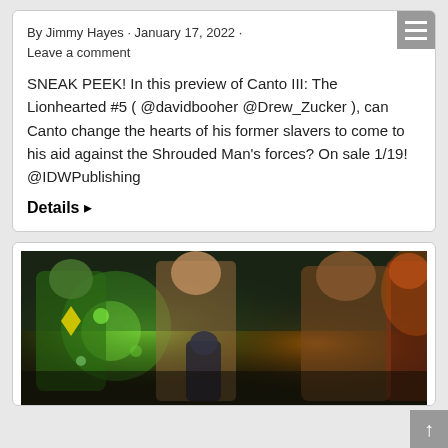By Jimmy Hayes · January 17, 2022 · Leave a comment
SNEAK PEEK! In this preview of Canto III: The Lionhearted #5 ( @davidbooher @Drew_Zucker ), can Canto change the hearts of his former slavers to come to his aid against the Shrouded Man's forces? On sale 1/19! @IDWPublishing
Details ▸
[Figure (illustration): Comic book cover art showing multiple superhero/fantasy characters with green energy glows, against a dark atmospheric background. Characters include figures in yellow and black costumes and a smaller dark-haired character in the foreground.]